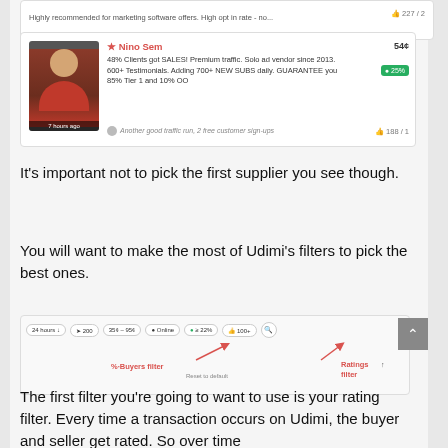[Figure (screenshot): Partial view of a solo ad vendor listing card with likes count 227/2]
[Figure (screenshot): Nino Sem solo ad vendor card: 48% Clients got SALES! Premium traffic. Solo ad vendor since 2013. 600+ Testimonials. Adding 700+ NEW SUBS daily. GUARANTEE you 85% Tier 1 and 10% OO. Price 54c. Rating 25%. Review: Another good traffic run, 2 free customer sign-ups. Likes: 188/1]
It's important not to pick the first supplier you see though.
You will want to make the most of Udimi's filters to pick the best ones.
[Figure (screenshot): Udimi filter bar showing: 24 hours, 200, 35c-95c, Online, 22% buyers filter, 100+ ratings filter, search icon. Annotations in red pointing to % Buyers filter and Ratings filter with red arrows.]
The first filter you're going to want to use is your rating filter. Every time a transaction occurs on Udimi, the buyer and seller get rated. So over time